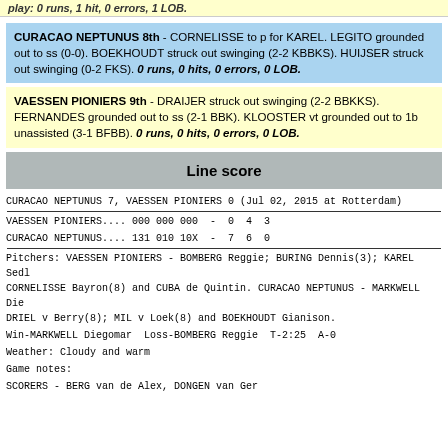play: 0 runs, 1 hit, 0 errors, 1 LOB.
CURACAO NEPTUNUS 8th - CORNELISSE to p for KAREL. LEGITO grounded out to ss (0-0). BOEKHOUDT struck out swinging (2-2 KBBKS). HUIJSER struck out swinging (0-2 FKS). 0 runs, 0 hits, 0 errors, 0 LOB.
VAESSEN PIONIERS 9th - DRAIJER struck out swinging (2-2 BBKKS). FERNANDES grounded out to ss (2-1 BBK). KLOOSTER vt grounded out to 1b unassisted (3-1 BFBB). 0 runs, 0 hits, 0 errors, 0 LOB.
Line score
| CURACAO NEPTUNUS 7, VAESSEN PIONIERS 0 (Jul 02, 2015 at Rotterdam) |
| VAESSEN PIONIERS.... 000 000 000  -  0  4  3 |
| CURACAO NEPTUNUS.... 131 010 10X  -  7  6  0 |
| Pitchers: VAESSEN PIONIERS - BOMBERG Reggie; BURING Dennis(3); KAREL Sedl CORNELISSE Bayron(8) and CUBA de Quintin. CURACAO NEPTUNUS - MARKWELL Die DRIEL v Berry(8); MIL v Loek(8) and BOEKHOUDT Gianison. |
| Win-MARKWELL Diegomar  Loss-BOMBERG Reggie  T-2:25  A-0 |
| Weather: Cloudy and warm |
| Game notes: |
| SCORERS - BERG van de Alex, DONGEN van Ger |